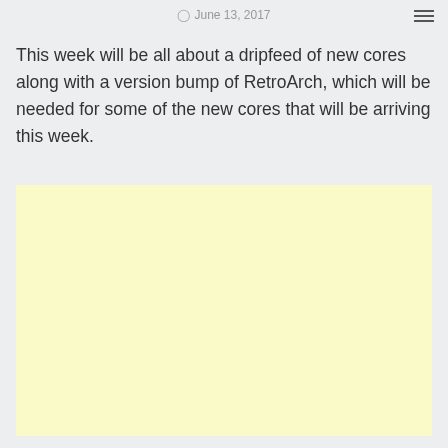June 13, 2017
This week will be all about a dripfeed of new cores along with a version bump of RetroArch, which will be needed for some of the new cores that will be arriving this week.
[Figure (other): Yellow advertisement block placeholder]